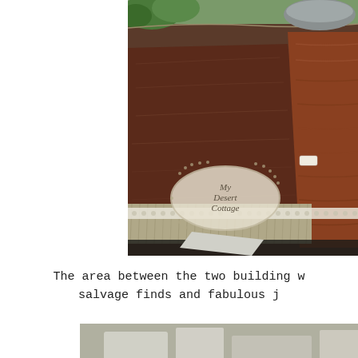[Figure (photo): A pile of salvage items including large dark reddish-brown wooden planks, fibrous netting/rope material, and other reclaimed objects outdoors with greenery visible. A watermark label reading 'My Desert Cottage' is overlaid on the image.]
The area between the two building w... salvage finds and fabulous j...
[Figure (photo): Partial view of another outdoor area with what appears to be more salvage or reclaimed items, image cropped at bottom of page.]